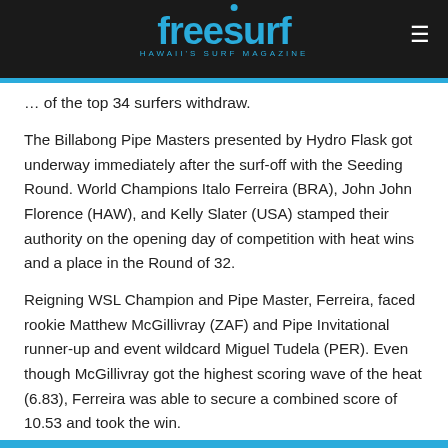freesurf HAWAII'S SURF MAGAZINE
… of the top 34 surfers withdraw.
The Billabong Pipe Masters presented by Hydro Flask got underway immediately after the surf-off with the Seeding Round. World Champions Italo Ferreira (BRA), John John Florence (HAW), and Kelly Slater (USA) stamped their authority on the opening day of competition with heat wins and a place in the Round of 32.
Reigning WSL Champion and Pipe Master, Ferreira, faced rookie Matthew McGillivray (ZAF) and Pipe Invitational runner-up and event wildcard Miguel Tudela (PER). Even though McGillivray got the highest scoring wave of the heat (6.83), Ferreira was able to secure a combined score of 10.53 and took the win.